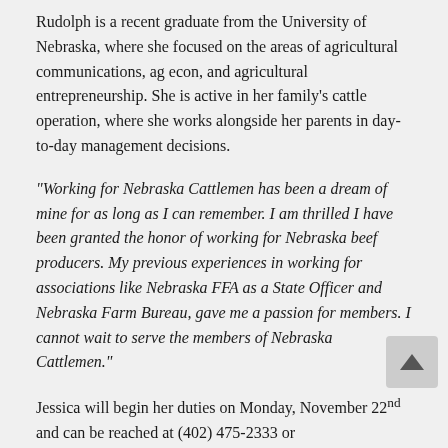Rudolph is a recent graduate from the University of Nebraska, where she focused on the areas of agricultural communications, ag econ, and agricultural entrepreneurship. She is active in her family's cattle operation, where she works alongside her parents in day-to-day management decisions.
“Working for Nebraska Cattlemen has been a dream of mine for as long as I can remember. I am thrilled I have been granted the honor of working for Nebraska beef producers. My previous experiences in working for associations like Nebraska FFA as a State Officer and Nebraska Farm Bureau, gave me a passion for members. I cannot wait to serve the members of Nebraska Cattlemen.”
Jessica will begin her duties on Monday, November 22nd and can be reached at (402) 475-2333 or jrudolph@necattlemen.org.